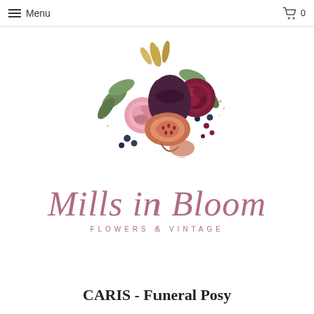Menu  0
[Figure (logo): Mills in Bloom Flowers & Vintage floral logo with roses, figs, and leaves in burgundy, pink, navy, and gold watercolor style, with cursive script text 'Mills in Bloom' and 'FLOWERS & VINTAGE']
CARIS - Funeral Posy